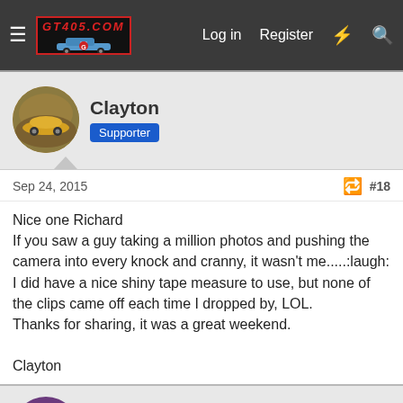GT405.COM — Log in | Register
Clayton
Supporter
Sep 24, 2015  #18
Nice one Richard
If you saw a guy taking a million photos and pushing the camera into every knock and cranny, it wasn't me.....:laugh:
I did have a nice shiny tape measure to use, but none of the clips came off each time I dropped by, LOL.
Thanks for sharing, it was a great weekend.

Clayton
Udo 101